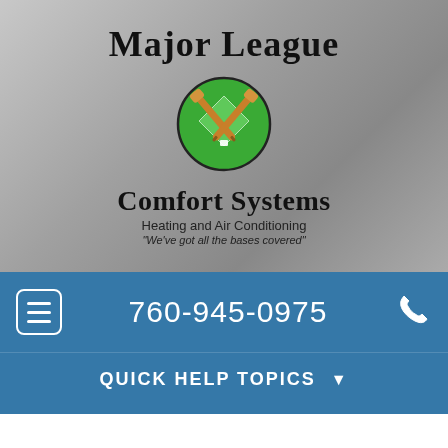[Figure (logo): Major League Comfort Systems logo with crossed baseball bats over a green circle baseball diamond, company name and tagline]
760-945-0975
QUICK HELP TOPICS
[Figure (logo): Bryant Heating & Cooling Systems Factory Authorized Dealer logo]